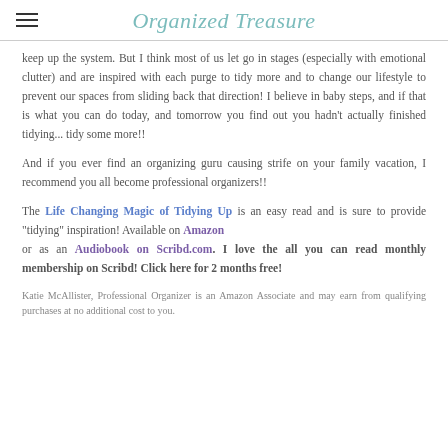Organized Treasure
keep up the system.  But I think most of us let go in stages (especially with emotional clutter) and are inspired with each purge to tidy more and to change our lifestyle to prevent our spaces from sliding back that direction!  I believe in baby steps, and if that is what you can do today, and tomorrow you find out you hadn't actually finished tidying... tidy some more!!
And if you ever find an organizing guru causing strife on your family vacation, I recommend you all become professional organizers!!
The Life Changing Magic of Tidying Up is an easy read and is sure to provide "tidying" inspiration!  Available on Amazon or as an Audiobook on Scribd.com.  I love the all you can read monthly membership on Scribd!  Click here for 2 months free!
Katie McAllister, Professional Organizer is an Amazon Associate and may earn from qualifying purchases at no additional cost to you.